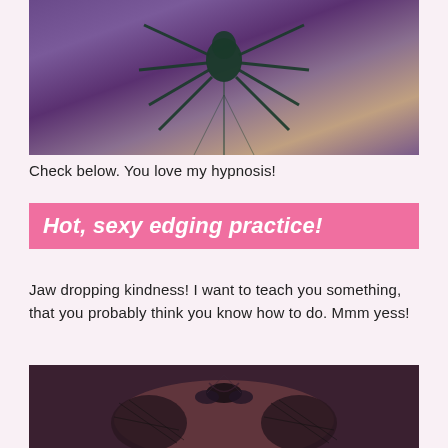[Figure (photo): Dark purple and brown atmospheric image showing a spider-like figure from below against a moody sky]
Check below. You love my hypnosis!
Hot, sexy edging practice!
Jaw dropping kindness! I want to teach you something, that you probably think you know how to do. Mmm yess!
[Figure (photo): Dark photo showing a person wearing black lace lingerie and mesh gloves]